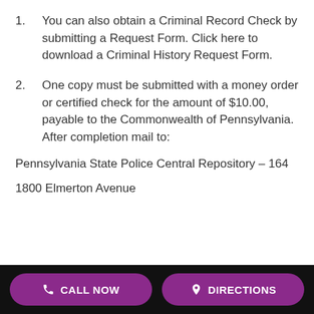1.    You can also obtain a Criminal Record Check by submitting a Request Form. Click here to download a Criminal History Request Form.
2.    One copy must be submitted with a money order or certified check for the amount of $10.00, payable to the Commonwealth of Pennsylvania. After completion mail to:
Pennsylvania State Police Central Repository – 164
1800 Elmerton Avenue
CALL NOW   DIRECTIONS